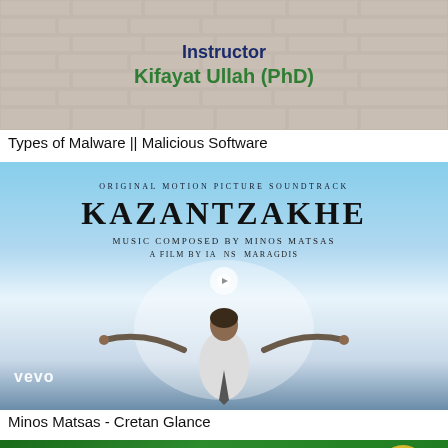[Figure (screenshot): Instructor card with brick wall background showing 'Instructor' in bold blue text and 'Kifayat Ullah (PhD)' in bold green text]
Types of Malware || Malicious Software
[Figure (screenshot): Vevo thumbnail for Kazantzakis Original Motion Picture Soundtrack, music composed by Minos Matsas, a film by Yannis Smaragdis. Shows person with arms outstretched against blue sky background.]
Minos Matsas - Cretan Glance
[Figure (screenshot): Green background image with yellow-green stylized text reading 'Thanks For']